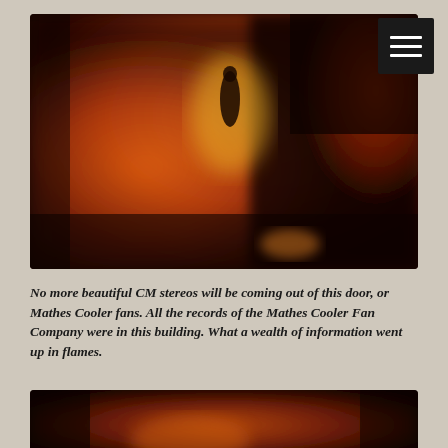[Figure (photo): Blurry photograph showing an orange and red fire scene with a dark silhouette figure visible against flames and smoke, with a dark menu button in the top right corner]
No more beautiful CM stereos will be coming out of this door, or Mathes Cooler fans. All the records of the Mathes Cooler Fan Company were in this building. What a wealth of information went up in flames.
[Figure (photo): Blurry photograph showing orange and dark reddish-brown fire scene, partially visible at the bottom of the page]